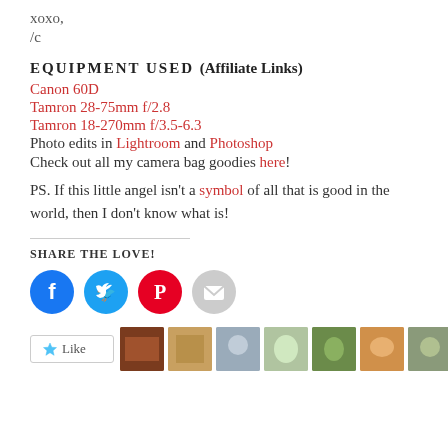xoxo,
/c
EQUIPMENT USED (Affiliate Links)
Canon 60D
Tamron 28-75mm f/2.8
Tamron 18-270mm f/3.5-6.3
Photo edits in Lightroom and Photoshop
Check out all my camera bag goodies here!
PS. If this little angel isn't a symbol of all that is good in the world, then I don't know what is!
SHARE THE LOVE!
[Figure (infographic): Social share buttons: Facebook (blue circle), Twitter (blue circle), Pinterest (red circle), Email (grey circle)]
[Figure (infographic): Like button and row of thumbnail images]